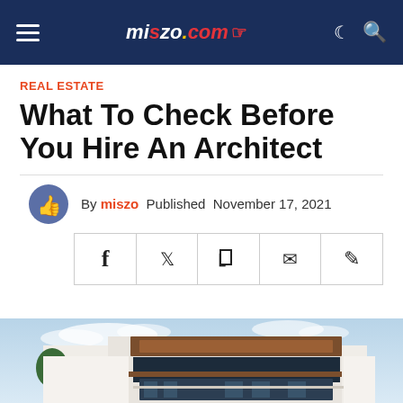miszo.com navigation bar
REAL ESTATE
What To Check Before You Hire An Architect
By miszo Published November 17, 2021
[Figure (screenshot): Social share buttons: Facebook, Twitter, Flipboard, Email, Comment]
[Figure (photo): Hero image of a modern residential building with wooden and white facade, glass windows, blue sky with clouds in background]